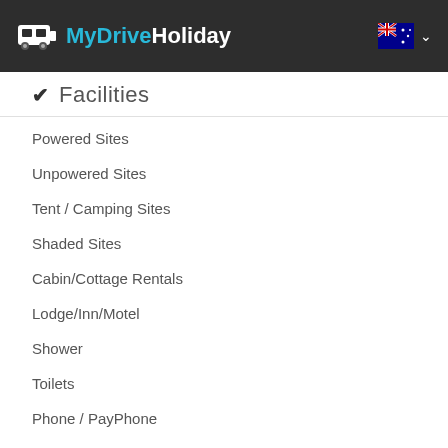MyDriveHoliday
Facilities
Powered Sites
Unpowered Sites
Tent / Camping Sites
Shaded Sites
Cabin/Cottage Rentals
Lodge/Inn/Motel
Shower
Toilets
Phone / PayPhone
Laundry
BBQ Facilities
LPG / Propane
Camp Kitchen
WiFi
Ensuite Sites